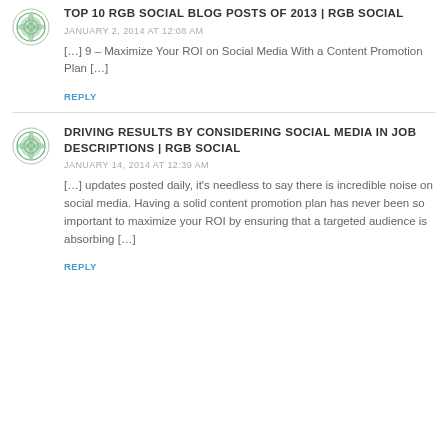TOP 10 RGB SOCIAL BLOG POSTS OF 2013 | RGB SOCIAL
JANUARY 2, 2014 AT 12:08 AM
[…] 9 – Maximize Your ROI on Social Media With a Content Promotion Plan […]
REPLY
DRIVING RESULTS BY CONSIDERING SOCIAL MEDIA IN JOB DESCRIPTIONS | RGB SOCIAL
JANUARY 14, 2014 AT 12:39 AM
[…] updates posted daily, it's needless to say there is incredible noise on social media. Having a solid content promotion plan has never been so important to maximize your ROI by ensuring that a targeted audience is absorbing […]
REPLY